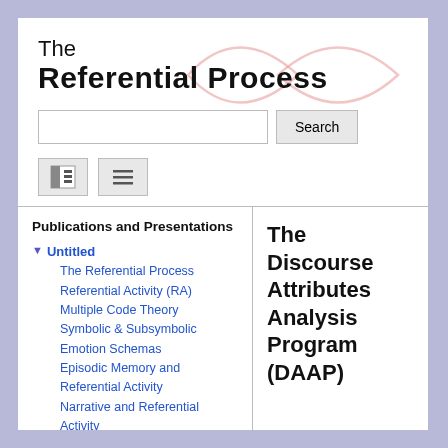The Referential Process
[Figure (illustration): Two overlapping lens/eye shaped outlines in light pink/red color forming a logo behind the site title text]
Search (search box and button)
[Figure (other): Two toolbar icon buttons: a sidebar/layout toggle icon and a hamburger menu icon]
Publications and Presentations
Untitled
The Referential Process
Referential Activity (RA)
Multiple Code Theory
Symbolic & Subsymbolic
Emotion Schemas
Episodic Memory and Referential Activity
Narrative and Referential Activity
Measures
Ongoing Research and Affiliations
The Discourse Attributes Analysis Program (DAAP)